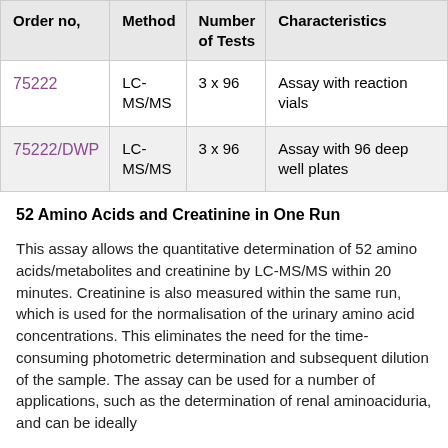| Order no, | Method | Number of Tests | Characteristics |
| --- | --- | --- | --- |
| 75222 | LC-MS/MS | 3 x 96 | Assay with reaction vials |
| 75222/DWP | LC-MS/MS | 3 x 96 | Assay with 96 deep well plates |
52 Amino Acids and Creatinine in One Run
This assay allows the quantitative determination of 52 amino acids/metabolites and creatinine by LC-MS/MS within 20 minutes. Creatinine is also measured within the same run, which is used for the normalisation of the urinary amino acid concentrations. This eliminates the need for the time-consuming photometric determination and subsequent dilution of the sample. The assay can be used for a number of applications, such as the determination of renal aminoaciduria, and can be ideally